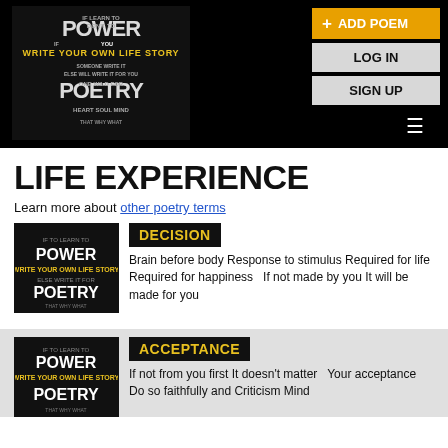[Figure (screenshot): Power Poetry website header with logo on black background, ADD POEM button in orange, LOG IN and SIGN UP buttons in gray, and hamburger menu icon]
LIFE EXPERIENCE
Learn more about other poetry terms
[Figure (logo): Power Poetry logo - black background with POWER POETRY text in white and yellow]
DECISION
Brain before body Response to stimulus Required for life Required for happiness   If not made by you It will be made for you
[Figure (logo): Power Poetry logo - black background with POWER POETRY text in white and yellow]
ACCEPTANCE
If not from you first It doesn't matter   Your acceptance Do so faithfully and Criticism Mind